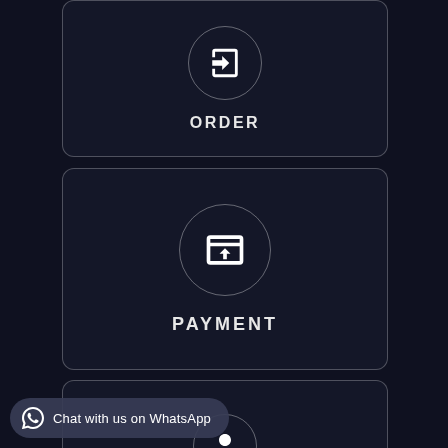[Figure (infographic): Dark card with a circle icon showing a login/enter arrow icon and the label ORDER]
[Figure (infographic): Dark card with a circle icon showing an upload/payment browser icon and the label PAYMENT]
[Figure (infographic): Dark card partially visible at the bottom with a person/user circle icon]
Chat with us on WhatsApp